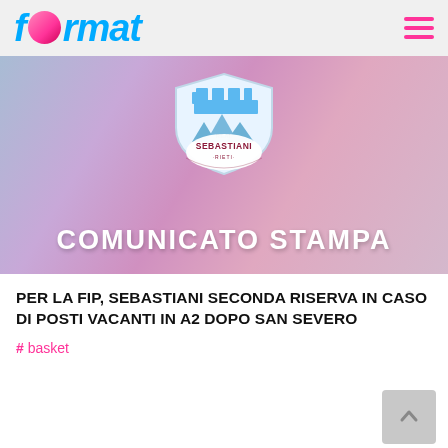format
[Figure (logo): Real Sebastiani Rieti basketball club logo with shield and basketball, on a pink-blue gradient background with text COMUNICATO STAMPA]
PER LA FIP, SEBASTIANI SECONDA RISERVA IN CASO DI POSTI VACANTI IN A2 DOPO SAN SEVERO
#basket